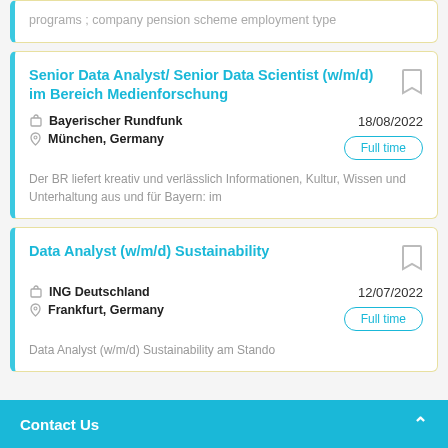programs ; company pension scheme employment type
Senior Data Analyst/ Senior Data Scientist (w/m/d) im Bereich Medienforschung
18/08/2022
Full time
Bayerischer Rundfunk
München, Germany
Der BR liefert kreativ und verlässlich Informationen, Kultur, Wissen und Unterhaltung aus und für Bayern: im
Data Analyst (w/m/d) Sustainability
12/07/2022
Full time
ING Deutschland
Frankfurt, Germany
Data Analyst (w/m/d) Sustainability am Stando
Contact Us